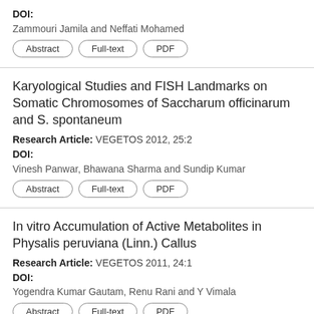DOI:
Zammouri Jamila and Neffati Mohamed
Abstract  Full-text  PDF
Karyological Studies and FISH Landmarks on Somatic Chromosomes of Saccharum officinarum and S. spontaneum
Research Article: VEGETOS 2012, 25:2
DOI:
Vinesh Panwar, Bhawana Sharma and Sundip Kumar
Abstract  Full-text  PDF
In vitro Accumulation of Active Metabolites in Physalis peruviana (Linn.) Callus
Research Article: VEGETOS 2011, 24:1
DOI:
Yogendra Kumar Gautam, Renu Rani and Y Vimala
Abstract  Full-text  PDF
In vitro Morphogenesis Response of Plant Parts of